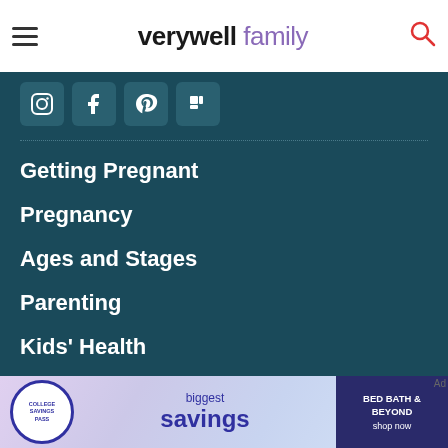verywell family
[Figure (other): Social media icons: Instagram, Facebook, Pinterest, Flipboard]
Getting Pregnant
Pregnancy
Ages and Stages
Parenting
Kids' Health
News
Meet Our Review Board
About Us
Editorial Process
Diversity Pledge
[Figure (other): Advertisement banner: College Savings Pass - biggest savings - Bed Bath & Beyond shop now]